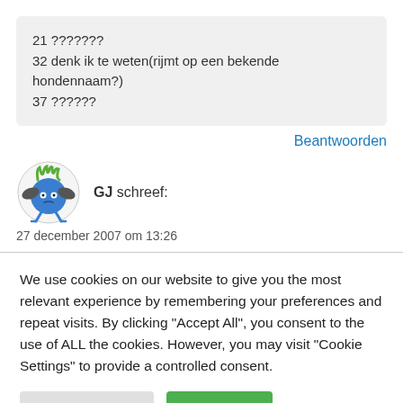21 ???????
32 denk ik te weten(rijmt op een bekende hondennaam?)
37 ??????
Beantwoorden
GJ schreef:
27 december 2007 om 13:26
We use cookies on our website to give you the most relevant experience by remembering your preferences and repeat visits. By clicking "Accept All", you consent to the use of ALL the cookies. However, you may visit "Cookie Settings" to provide a controlled consent.
Cookie Settings
Accept All